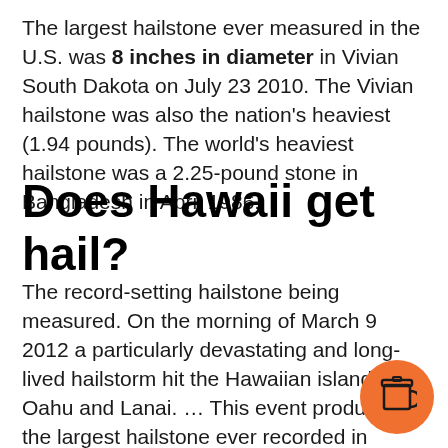The largest hailstone ever measured in the U.S. was 8 inches in diameter in Vivian South Dakota on July 23 2010. The Vivian hailstone was also the nation's heaviest (1.94 pounds). The world's heaviest hailstone was a 2.25-pound stone in Bangladesh in April 1986.
Does Hawaii get hail?
The record-setting hailstone being measured. On the morning of March 9 2012 a particularly devastating and long-lived hailstorm hit the Hawaiian islands of Oahu and Lanai. … This event produced the largest hailstone ever recorded in Hawaii since records began in 1950.